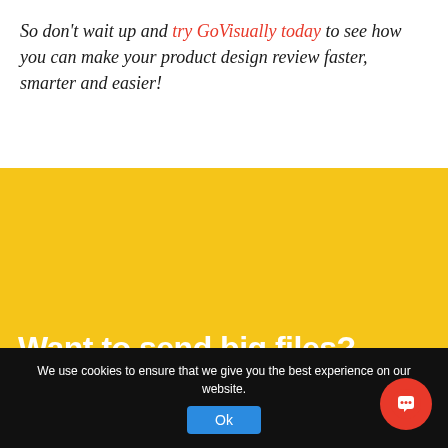So don't wait up and try GoVisually today to see how you can make your product design review faster, smarter and easier!
[Figure (other): Yellow banner with bold white text reading 'Want to send big files?']
We use cookies to ensure that we give you the best experience on our website.